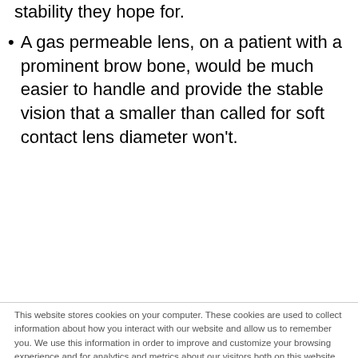stability they hope for.
A gas permeable lens, on a patient with a prominent brow bone, would be much easier to handle and provide the stable vision that a smaller than called for soft contact lens diameter won't.
This website stores cookies on your computer. These cookies are used to collect information about how you interact with our website and allow us to remember you. We use this information in order to improve and customize your browsing experience and for analytics and metrics about our visitors both on this website and other media. To find out more about the cookies we use, see our Privacy Policy.

If you decline, your information won't be tracked when you visit this website. A single cookie will be used in your browser to remember your preference not to be tracked.